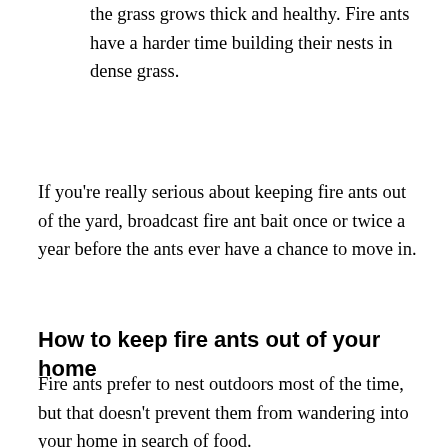the grass grows thick and healthy. Fire ants have a harder time building their nests in dense grass.
If you're really serious about keeping fire ants out of the yard, broadcast fire ant bait once or twice a year before the ants ever have a chance to move in.
How to keep fire ants out of your home
Fire ants prefer to nest outdoors most of the time, but that doesn't prevent them from wandering into your home in search of food.
Here are some steps you can take to keep fire ants out of your home:
Create a barrier around your home's foundation